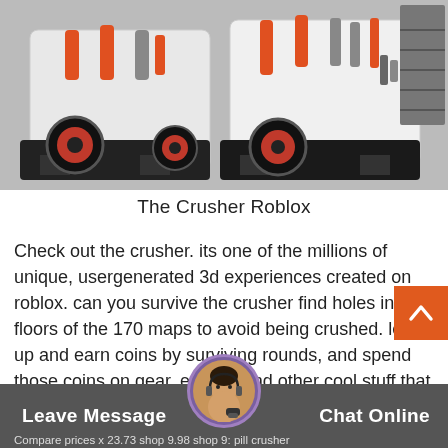[Figure (photo): Industrial cone crusher machines, two units, white and black with red and orange accents, on a factory or outdoor surface.]
The Crusher Roblox
Check out the crusher. its one of the millions of unique, usergenerated 3d experiences created on roblox. can you survive the crusher find holes in the floors of the 170 maps to avoid being crushed. level up and earn coins by surviving rounds, and spend those coins on gear, effects, and other cool stuff that will make your character more awesome.
Compare prices x 23.73 shop 9.98 shop 9: pill crusher